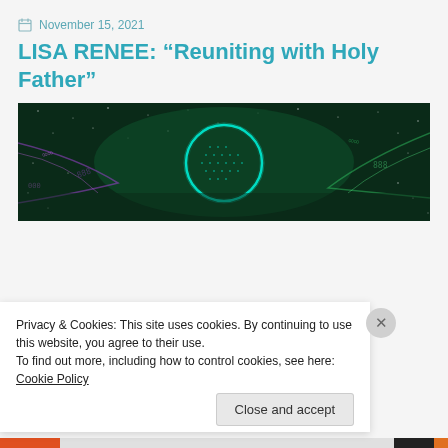November 15, 2021
LISA RENEE: “reuniting with Holy Father”
[Figure (illustration): Abstract digital art showing a glowing teal circle/portal in the center against a dark green starfield background with purple and green light streaks and numerical patterns]
Privacy & Cookies: This site uses cookies. By continuing to use this website, you agree to their use.
To find out more, including how to control cookies, see here: Cookie Policy
Close and accept